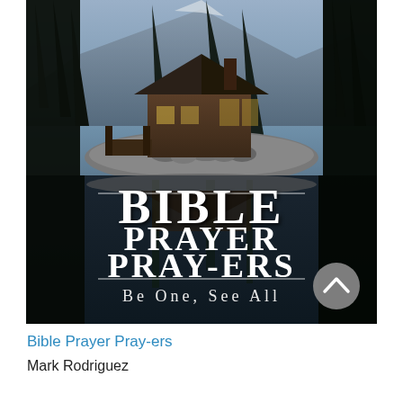[Figure (photo): Book cover of 'Bible Prayer Pray-ers: Be One, See All' by Mark Rodriguez. The cover shows a rustic lodge or cabin on a rocky shoreline surrounded by tall pine trees and a mountain in the background. The scene is reflected in a dark lake below. Overlaid text reads 'BIBLE PRAYER PRAY-ERS' in large bold white serif letters with 'Be One, See All' in a lighter serif font below. Two thin horizontal lines bracket the title text. A circular gray scroll-up button with an upward chevron icon appears in the lower right of the image.]
Bible Prayer Pray-ers
Mark Rodriguez